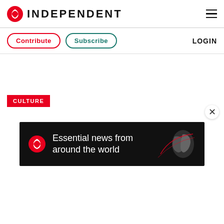INDEPENDENT
Contribute | Subscribe | LOGIN
CULTURE
[Figure (screenshot): White empty main content area below navigation bar]
[Figure (infographic): The Independent ad banner: eagle logo, 'Essential news from around the world' text, world map graphic on dark background]